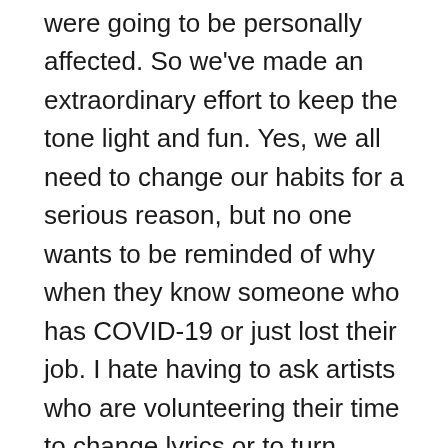were going to be personally affected. So we've made an extraordinary effort to keep the tone light and fun. Yes, we all need to change our habits for a serious reason, but no one wants to be reminded of why when they know someone who has COVID-19 or just lost their job. I hate having to ask artists who are volunteering their time to change lyrics or to turn down submissions I personally like, but if we aren't making it a rewarding and useful experience, then people aren't going to use it and aren't going to slow the spread